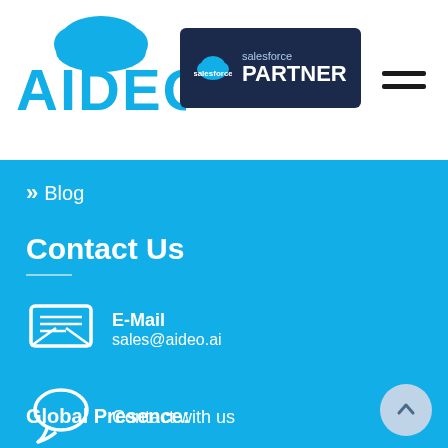[Figure (logo): AIDEO logo in blue with cloud shape above the letters]
[Figure (logo): Salesforce Partner badge — dark navy background with Salesforce cloud icon and PARTNER text in white]
[Figure (infographic): Hamburger menu icon (three horizontal black lines)]
» Blog
Contact Us
E-Mail
sales@aideo.ai
Contact with us
Global Presence: